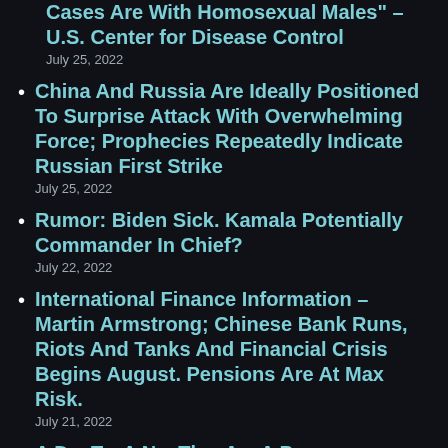Cases Are With Homosexual Males" – U.S. Center for Disease Control
July 25, 2022
China And Russia Are Ideally Positioned To Surprise Attack With Overwhelming Force; Prophecies Repeatedly Indicate Russian First Strike
July 25, 2022
Rumor: Biden Sick. Kamala Potentially Commander In Chief?
July 22, 2022
International Finance Information – Martin Armstrong; Chinese Bank Runs, Riots And Tanks And Financial Crisis Begins August. Pensions Are At Max Risk.
July 21, 2022
A D... T... A N... Th... A... A P...